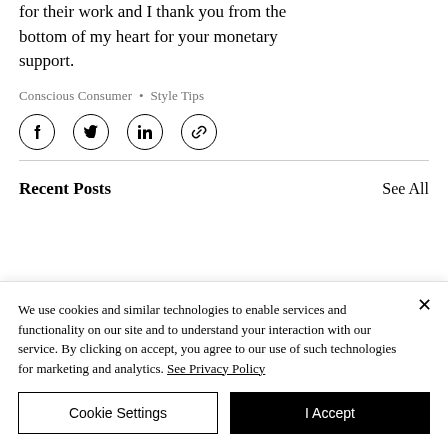for their work and I thank you from the bottom of my heart for your monetary support.
Conscious Consumer  •  Style Tips
[Figure (other): Share buttons row: Facebook, Twitter, LinkedIn, and link/copy icons in circular bordered buttons]
Recent Posts
See All
We use cookies and similar technologies to enable services and functionality on our site and to understand your interaction with our service. By clicking on accept, you agree to our use of such technologies for marketing and analytics. See Privacy Policy